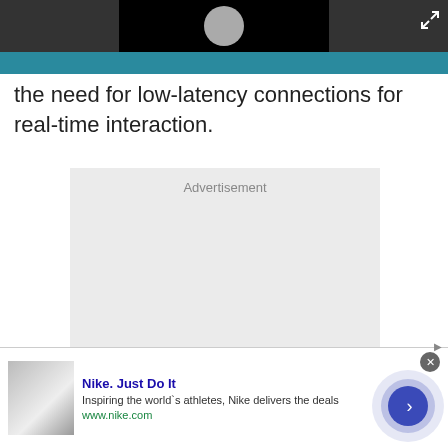[Figure (screenshot): Dark gray top bar with a video thumbnail showing a play button icon in center, and an expand/fullscreen icon in the top right corner]
[Figure (other): Teal/blue horizontal bar below the video player]
the need for low-latency connections for real-time interaction.
[Figure (other): Large light gray Advertisement placeholder box]
[Figure (other): Bottom banner advertisement for Nike. Just Do It - Inspiring the world's athletes, Nike delivers the deals - www.nike.com, with shoe image on left and circular arrow button on right]